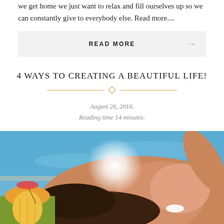we get home we just want to relax and fill ourselves up so we can constantly give to everybody else. Read more....
READ MORE →
4 WAYS TO CREATING A BEAUTIFUL LIFE!
August 26, 2016.
Reading time 14 minutes.
[Figure (photo): Woman smiling at poolside with tropical drink and pineapple, sun glare in background]